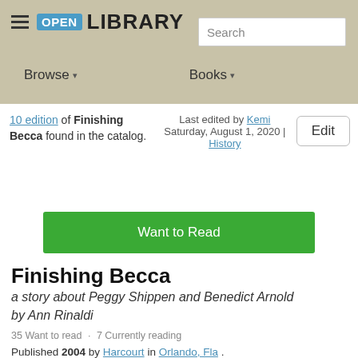[Figure (logo): Open Library logo with hamburger menu, OPEN badge in blue, and LIBRARY text]
Search
Browse ▾   Books ▾
10 edition of Finishing Becca found in the catalog.
Last edited by Kemi
Saturday, August 1, 2020 | History
Edit
Want to Read
Finishing Becca
a story about Peggy Shippen and Benedict Arnold
by Ann Rinaldi
35 Want to read  ·  7 Currently reading
Published 2004 by Harcourt in Orlando, Fla .
Written in English